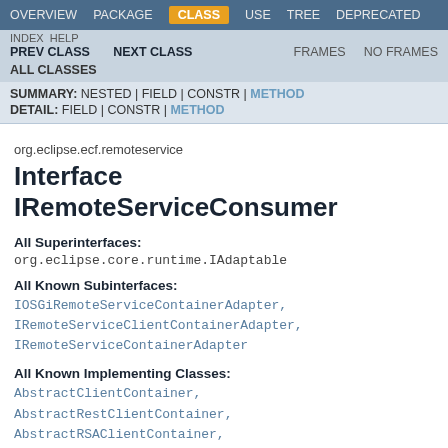OVERVIEW   PACKAGE   CLASS   USE   TREE   DEPRECATED
INDEX   HELP   PREV CLASS   NEXT CLASS   FRAMES   NO FRAMES   ALL CLASSES
SUMMARY: NESTED | FIELD | CONSTR | METHOD   DETAIL: FIELD | CONSTR | METHOD
org.eclipse.ecf.remoteservice
Interface IRemoteServiceConsumer
All Superinterfaces:
org.eclipse.core.runtime.IAdaptable
All Known Subinterfaces:
IOSGiRemoteServiceContainerAdapter, IRemoteServiceClientContainerAdapter, IRemoteServiceContainerAdapter
All Known Implementing Classes:
AbstractClientContainer, AbstractRestClientContainer, AbstractRSAClientContainer,